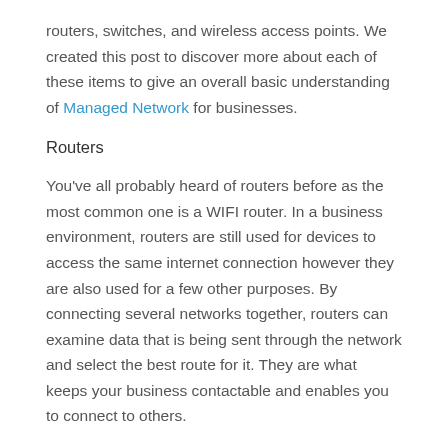routers, switches, and wireless access points. We created this post to discover more about each of these items to give an overall basic understanding of Managed Network for businesses.
Routers
You've all probably heard of routers before as the most common one is a WIFI router. In a business environment, routers are still used for devices to access the same internet connection however they are also used for a few other purposes. By connecting several networks together, routers can examine data that is being sent through the network and select the best route for it. They are what keeps your business contactable and enables you to connect to others.